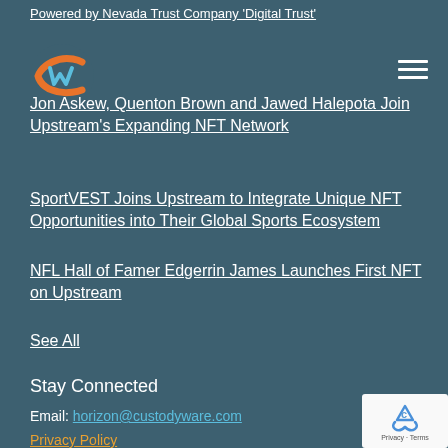Powered by Nevada Trust Company 'Digital Trust'
[Figure (logo): Upstream/Custodyware logo - orange and teal C-shaped bracket icon with W inside]
Jon Askew, Quenton Brown and Jawed Halepota Join Upstream's Expanding NFT Network
SportVEST Joins Upstream to Integrate Unique NFT Opportunities into Their Global Sports Ecosystem
NFL Hall of Famer Edgerrin James Launches First NFT on Upstream
See All
Stay Connected
Email: horizon@custodyware.com
Privacy Policy
[Figure (other): reCAPTCHA badge showing recycling-style arrows logo with Privacy and Terms text]